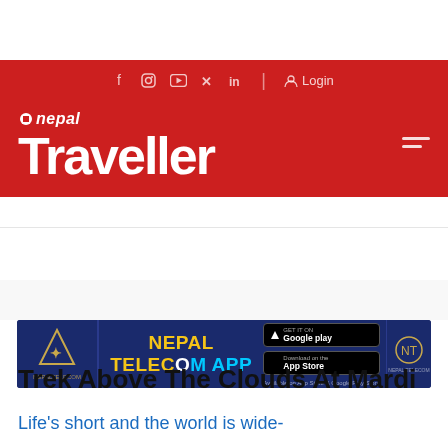[Figure (logo): Nepal Traveller website header with red background, social media icons (f, Instagram, YouTube, Twitter, LinkedIn), Login button, Nepal Traveller logo, and hamburger menu]
[Figure (infographic): Nepal Telecom App advertisement banner with dark blue background, yellow and white APP text, Google Play and App Store badges]
Trek Above The Clouds At Mardi
Life's short and the world is wide-